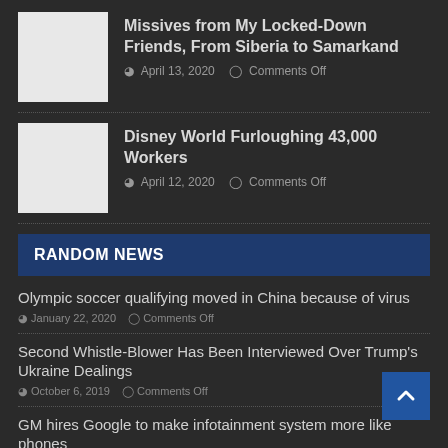Missives from My Locked-Down Friends, From Siberia to Samarkand
April 13, 2020  Comments Off
Disney World Furloughing 43,000 Workers
April 12, 2020  Comments Off
RANDOM NEWS
Olympic soccer qualifying moved in China because of virus
January 22, 2020  Comments Off
Second Whistle-Blower Has Been Interviewed Over Trump's Ukraine Dealings
October 6, 2019  Comments Off
GM hires Google to make infotainment system more like phones